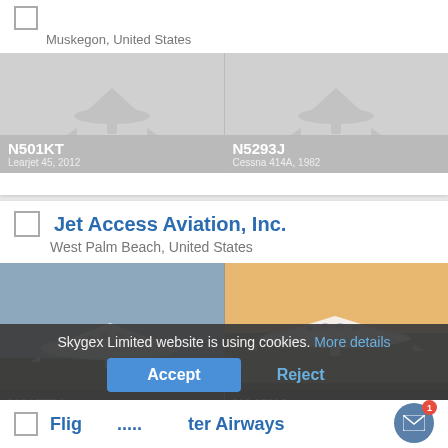Muskegon, United States
[Figure (screenshot): Aircraft card with N501KT (Learjet 45, 2012) and N5293J (Cessna 414A, 1982) with placeholder airplane icons on gray backgrounds]
Jet Access Aviation, Inc.
West Palm Beach, United States
[Figure (screenshot): Aircraft photos: N817TV Cessna Citation Sovereign 2008 (left) and N645HA Learjet 31A 1996 (right)]
Skygex Limited website is using cookies. More details
Accept
Reject
Flight Charter Airways